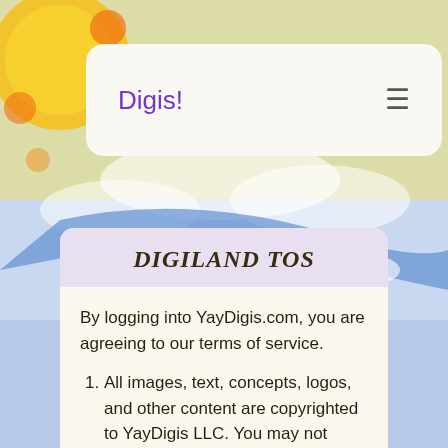[Figure (illustration): Colorful cartoon background with sun, clouds, and blue sky in yellow and blue tones]
Digis!
DIGILAND TOS
By logging into YayDigis.com, you are agreeing to our terms of service.
All images, text, concepts, logos, and other content are copyrighted to YayDigis LLC. You may not take, alter, trace, sell,